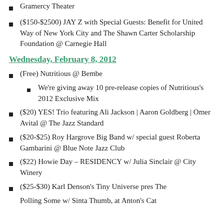Gramercy Theater
($150-$2500) JAY Z with Special Guests: Benefit for United Way of New York City and The Shawn Carter Scholarship Foundation @ Carnegie Hall
Wednesday, February 8, 2012
(Free) Nutritious @ Bembe
We're giving away 10 pre-release copies of Nutritious's 2012 Exclusive Mix
($20) YES! Trio featuring Ali Jackson | Aaron Goldberg | Omer Avital @ The Jazz Standard
($20-$25) Roy Hargrove Big Band w/ special guest Roberta Gambarini @ Blue Note Jazz Club
($22) Howie Day – RESIDENCY w/ Julia Sinclair @ City Winery
($25-$30) Karl Denson's Tiny Universe pres The Polling Some w/ Sista Thumb at ...